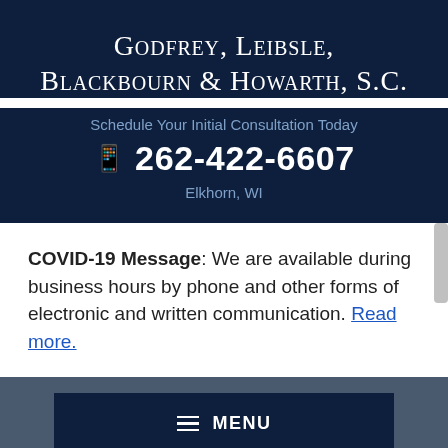Godfrey, Leibsle, Blackbourn & Howarth, S.C.
Schedule Your Initial Consultation Today
262-422-6607
Elkhorn, WI
COVID-19 Message: We are available during business hours by phone and other forms of electronic and written communication. Read more.
MENU
REVIEW US